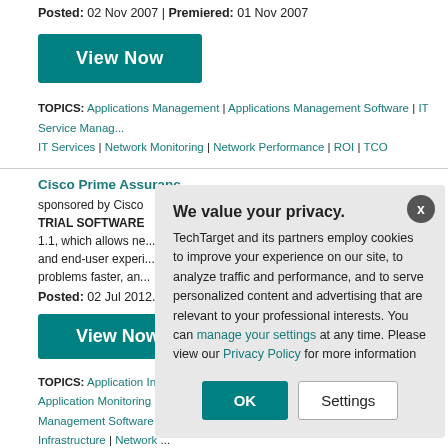Posted: 02 Nov 2007 | Premiered: 01 Nov 2007
[Figure (other): View Now button (teal)]
TOPICS: Applications Management | Applications Management Software | IT Service Management | IT Services | Network Monitoring | Network Performance | ROI | TCO
Cisco Prime Assurance...
sponsored by Cisco TRIAL SOFTWARE 1.1, which allows ne... and end-user experi... problems faster, an...
Posted: 02 Jul 2012...
[Figure (other): View Now button (teal)]
TOPICS: Application In... Application Monitoring S... Management Software | ... Infrastructure | Network ... Networking | WAN
We value your privacy. TechTarget and its partners employ cookies to improve your experience on our site, to analyze traffic and performance, and to serve personalized content and advertising that are relevant to your professional interests. You can manage your settings at any time. Please view our Privacy Policy for more information
[Figure (other): OK and Settings buttons in modal dialog]